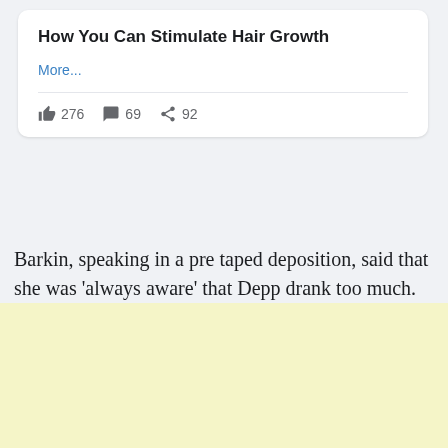How You Can Stimulate Hair Growth
More...
👍 276  💬 69  ➤ 92
Barkin, speaking in a pre taped deposition, said that she was 'always aware' that Depp drank too much.
[Figure (other): Yellow advertisement banner at the bottom of the page]